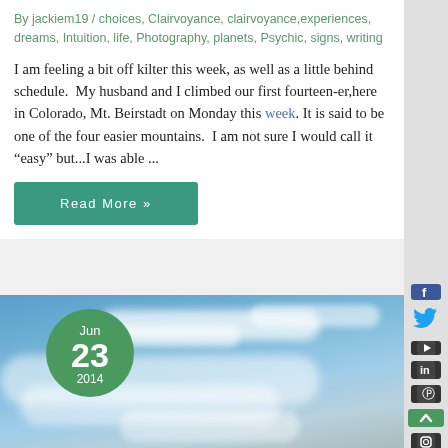By jackiem19 / choices, Clairvoyance, clairvoyance,experiences, dreams, Intuition, life, Photography, planets, Psychic, signs, writing
I am feeling a bit off kilter this week, as well as a little behind schedule.  My husband and I climbed our first fourteen-er,here in Colorado, Mt. Beirstadt on Monday this week. It is said to be one of the four easier mountains.  I am not sure I would call it “easy” but...I was able ...
Read More »
[Figure (photo): Sky with clouds photograph. Green circular date badge overlaid showing Jun 23 2014. Social media icons on right sidebar including Facebook, Twitter, YouTube, LinkedIn, Pinterest, Instagram. Green scroll-to-top button.]